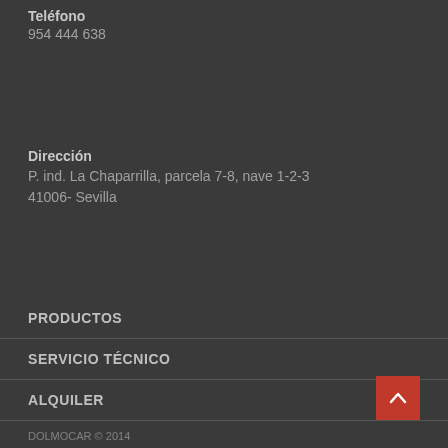Teléfono
954 444 638
Dirección
P. ind. La Chaparrilla, parcela 7-8, nave 1-2-3
41006- Sevilla
PRODUCTOS
SERVICIO TÉCNICO
ALQUILER
DOLMOCAR © 2014